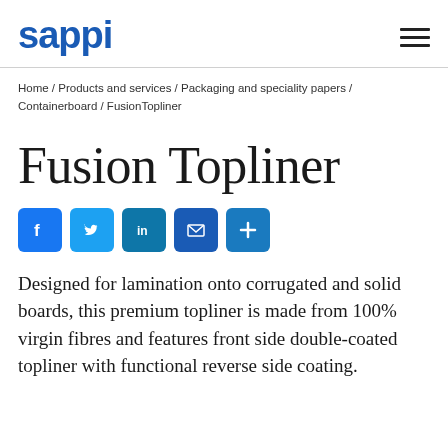sappi
Home / Products and services / Packaging and speciality papers / Containerboard / FusionTopliner
Fusion Topliner
[Figure (other): Social media share buttons: Facebook, Twitter, LinkedIn, Email, Share]
Designed for lamination onto corrugated and solid boards, this premium topliner is made from 100% virgin fibres and features front side double-coated topliner with functional reverse side coating.